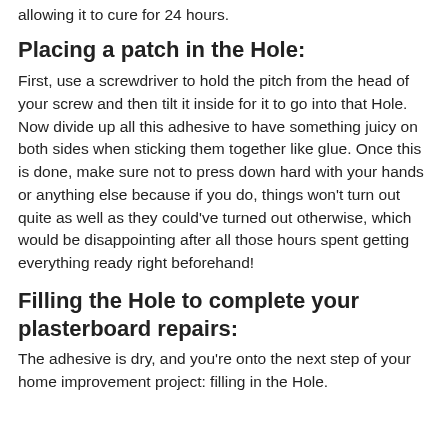allowing it to cure for 24 hours.
Placing a patch in the Hole:
First, use a screwdriver to hold the pitch from the head of your screw and then tilt it inside for it to go into that Hole. Now divide up all this adhesive to have something juicy on both sides when sticking them together like glue. Once this is done, make sure not to press down hard with your hands or anything else because if you do, things won't turn out quite as well as they could've turned out otherwise, which would be disappointing after all those hours spent getting everything ready right beforehand!
Filling the Hole to complete your plasterboard repairs:
The adhesive is dry, and you're onto the next step of your home improvement project: filling in the Hole.